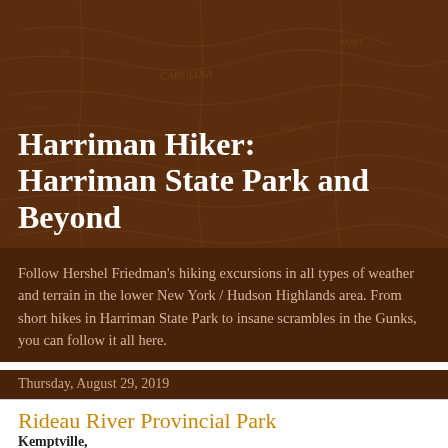Harriman Hiker: Harriman State Park and Beyond
Follow Hershel Friedman's hiking excursions in all types of weather and terrain in the lower New York / Hudson Highlands area. From short hikes in Harriman State Park to insane scrambles in the Gunks, you can follow it all here.
Thursday, August 29, 2019
Rideau River Provincial Park
Kemptville,